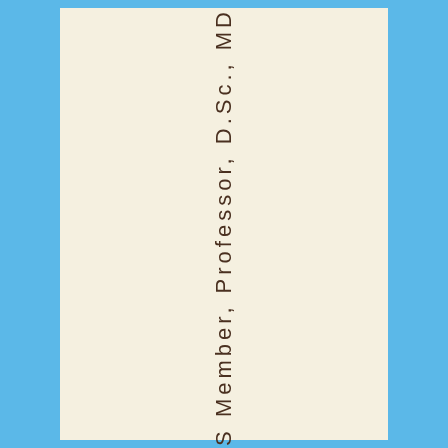RAS Member, Professor, D.Sc., MD